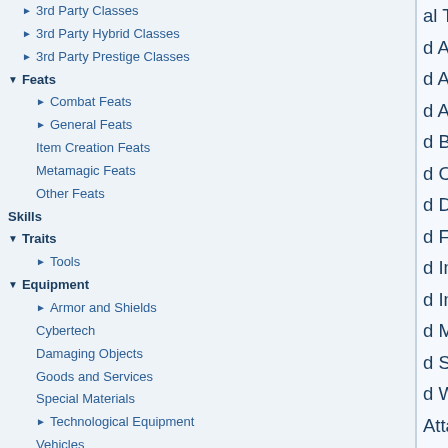3rd Party Classes
3rd Party Hybrid Classes
3rd Party Prestige Classes
Feats
Combat Feats
General Feats
Item Creation Feats
Metamagic Feats
Other Feats
Skills
Traits
Tools
Equipment
Armor and Shields
Cybertech
Damaging Objects
Goods and Services
Special Materials
Technological Equipment
Vehicles
Weapons
Weapon & Armor Accessories
3rd Party Equipment
al Terror [Psionic]
d Archer Path [Psionic]
d Ascetic Path [Psionic]
d Assassin Path [Psionic]
d Brawling Path [Psionic]
d Constructs [Psionic]
d Dervish Path [Psionic]
d Feral Path [Psionic]
d Infiltrator Path [Psionic]
d Interceptor Path [Psionic]
d Mind Knight Path [Psionic]
d Survivor Path [Psionic]
d Weaponmaster Path [Psionic]
Attack [Psionic]
's Shot [Combat]
's Venom [Psionic]
nous
el [Psionic]
onstruct [Psionic]